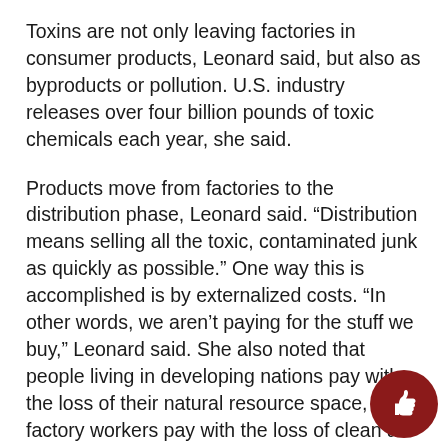Toxins are not only leaving factories in consumer products, Leonard said, but also as byproducts or pollution. U.S. industry releases over four billion pounds of toxic chemicals each year, she said.
Products move from factories to the distribution phase, Leonard said. “Distribution means selling all the toxic, contaminated junk as quickly as possible.” One way this is accomplished is by externalized costs. “In other words, we aren’t paying for the stuff we buy,” Leonard said. She also noted that people living in developing nations pay with the loss of their natural resource space, and factory workers pay with the loss of clean air and increased health risks.
Children who drop out of school to mine coal pay with their futures, and store workers often pay by covering the cost of their health insurance. “None of these contributions are recorded in any accounts